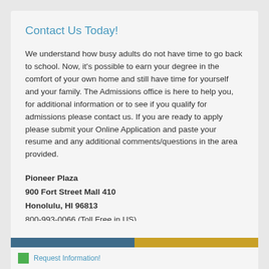Contact Us Today!
We understand how busy adults do not have time to go back to school. Now, it's possible to earn your degree in the comfort of your own home and still have time for yourself and your family. The Admissions office is here to help you, for additional information or to see if you qualify for admissions please contact us. If you are ready to apply please submit your Online Application and paste your resume and any additional comments/questions in the area provided.
Pioneer Plaza
900 Fort Street Mall 410
Honolulu, HI 96813
800-993-0066 (Toll Free in US)
808-924-9567 (Internationally)
808-947-2488 (Fax)